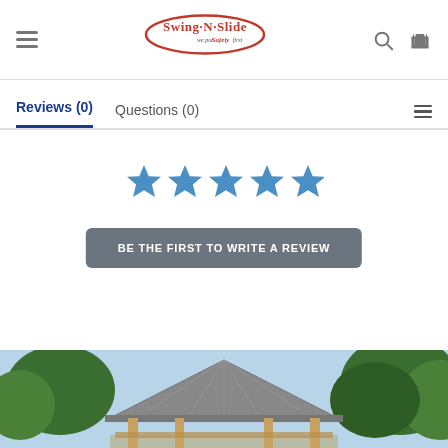Swing-N-Slide — we put Safety first (logo with hamburger menu, search icon, cart icon)
Reviews (0)   Questions (0)
[Figure (other): Five blue star rating icons (empty/placeholder rating)]
BE THE FIRST TO WRITE A REVIEW
[Figure (photo): Outdoor gazebo with gray metal hip roof, natural wood beam framing, set among green trees with a blue sky background]